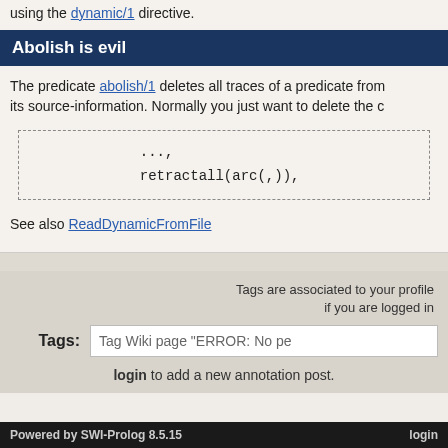using the dynamic/1 directive.
Abolish is evil
The predicate abolish/1 deletes all traces of a predicate from its source-information. Normally you just want to delete the c
...,
retractall(arc(,)),
See also ReadDynamicFromFile
Tags are associated to your profile if you are logged in
Tags: Tag Wiki page "ERROR: No pe
login to add a new annotation post.
Powered by SWI-Prolog 8.5.15    login